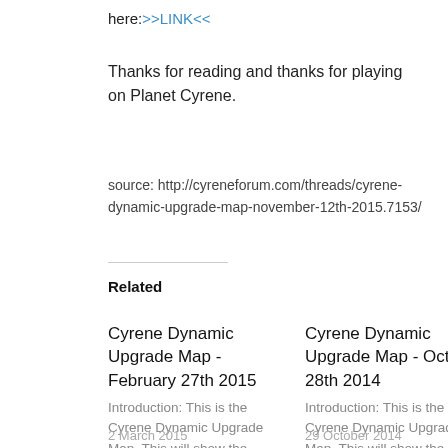here:>>LINK<<
Thanks for reading and thanks for playing on Planet Cyrene.
source: http://cyreneforum.com/threads/cyrene-dynamic-upgrade-map-november-12th-2015.7153/
Related
Cyrene Dynamic Upgrade Map - February 27th 2015
Introduction: This is the Cyrene Dynamic Upgrade Map. This will show the progression of the different land
2 March 2015
Cyrene Dynamic Upgrade Map - October 28th 2014
Introduction: This is the Cyrene Dynamic Upgrade Map. This will show the progression of the different land
29 October 2014